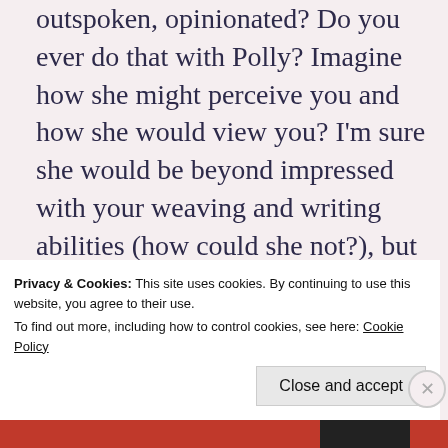outspoken, opinionated? Do you ever do that with Polly? Imagine how she might perceive you and how she would view you? I'm sure she would be beyond impressed with your weaving and writing abilities (how could she not?), but do you ever try to imagine what a conversation with her might be like?
That's so cool that you found the room your grandfather rented and
Privacy & Cookies: This site uses cookies. By continuing to use this website, you agree to their use. To find out more, including how to control cookies, see here: Cookie Policy
Close and accept